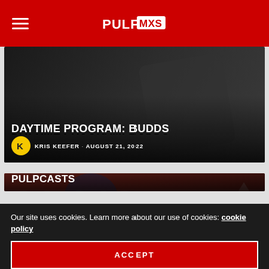PulpMX navigation header with hamburger menu and logo
[Figure (photo): Partial view of article card: DAYTIME PROGRAM: BUDDS with dark background photo of a person holding a bottle, author Kris Keefer, August 21, 2022]
DAYTIME PROGRAM: BUDDS
KRIS KEEFER · AUGUST 21, 2022
[Figure (photo): Motocross rider wearing Fox gear with number 30, riding on a GASGAS-branded red background track]
PRO CIRCUIT BUDDS CREEK MX POST-RACE PULPCASTS
Our site uses cookies. Learn more about our use of cookies: cookie policy
ACCEPT